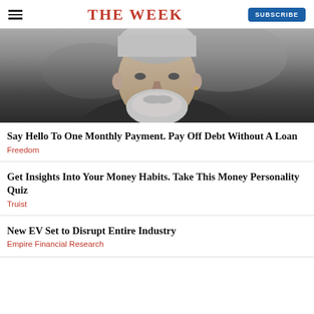THE WEEK
[Figure (photo): Close-up photo of a middle-aged man with a gray beard, looking slightly downward, wearing a dark jacket, blurred background]
Say Hello To One Monthly Payment. Pay Off Debt Without A Loan
Freedom
Get Insights Into Your Money Habits. Take This Money Personality Quiz
Truist
New EV Set to Disrupt Entire Industry
Empire Financial Research